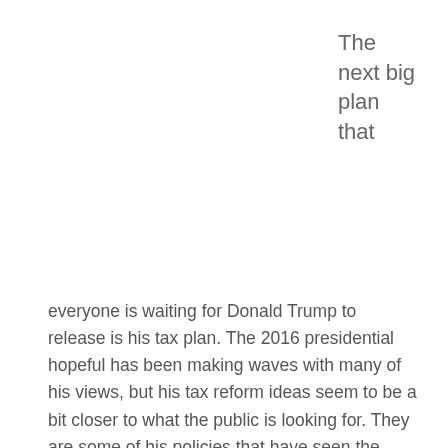The next big plan that
everyone is waiting for Donald Trump to release is his tax plan. The 2016 presidential hopeful has been making waves with many of his views, but his tax reform ideas seem to be a bit closer to what the public is looking for. They are some of his policies that have seen the